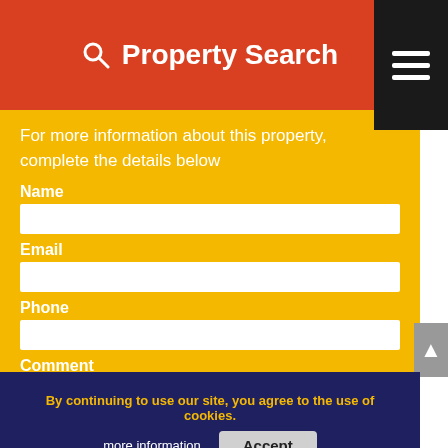Property Search
For more information about this property, complete the details below
Name
Email
Phone
Comment
By continuing to use our site, you agree to the use of cookies.
more information
Accept
Send